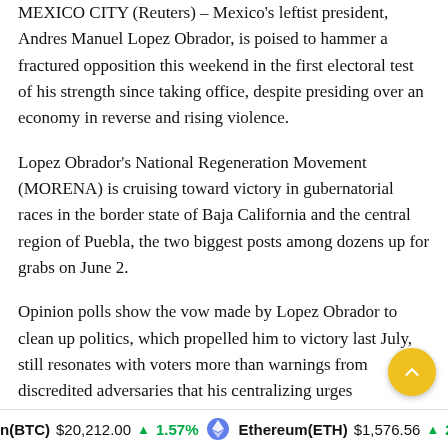MEXICO CITY (Reuters) – Mexico's leftist president, Andres Manuel Lopez Obrador, is poised to hammer a fractured opposition this weekend in the first electoral test of his strength since taking office, despite presiding over an economy in reverse and rising violence.
Lopez Obrador's National Regeneration Movement (MORENA) is cruising toward victory in gubernatorial races in the border state of Baja California and the central region of Puebla, the two biggest posts among dozens up for grabs on June 2.
Opinion polls show the vow made by Lopez Obrador to clean up politics, which propelled him to victory last July, still resonates with voters more than warnings from discredited adversaries that his centralizing urges concentrate too much power in one person and are encouraging arbitrary decision making.
n(BTC) $20,212.00 ↑ 1.57%   Ethereum(ETH) $1,576.56 ↑ 2.39%